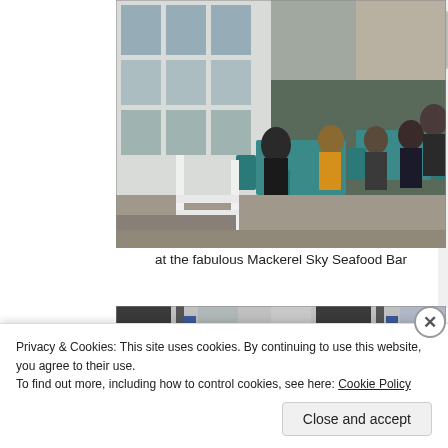[Figure (photo): People dining outdoors at the Mackerel Sky Seafood Bar. Customers sit at teal/turquoise bistro tables and chairs on a pavement terrace outside a white-painted building with large windows. A white painted fence/railing is visible in the foreground.]
at the fabulous Mackerel Sky Seafood Bar
[Figure (photo): Partial view of a second photo showing what appears to be door/gate hardware and blue fabric, cropped at the bottom of the visible area.]
Privacy & Cookies: This site uses cookies. By continuing to use this website, you agree to their use.
To find out more, including how to control cookies, see here: Cookie Policy
Close and accept